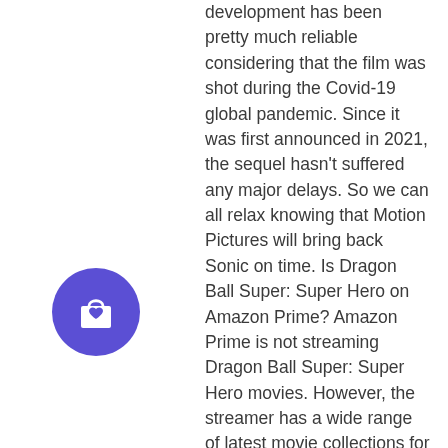development has been pretty much reliable considering that the film was shot during the Covid-19 global pandemic. Since it was first announced in 2021, the sequel hasn't suffered any major delays. So we can all relax knowing that Motion Pictures will bring back Sonic on time. Is Dragon Ball Super: Super Hero on Amazon Prime? Amazon Prime is not streaming Dragon Ball Super: Super Hero movies. However, the streamer has a wide range of latest movie collections for their viewers, including Train to Busan, The Raid: Redemption, Hell or High Water, The Florida Project, and Burning. Is Dragon Ball Super: Super Hero on HBO Max? No. Dragon Ball Super: Super Hero is a Sony movie, not a Warner Bros. movie. Also, HBO Max will no longer be streaming theatrical movies in 2022. (Last year, Warner Bros. opted to simultaneously release its theatrical slate on streaming, meaning HBO Max subscribers could watch movies like Matrix
[Figure (other): Purple circular shopping bag button with a heart icon]